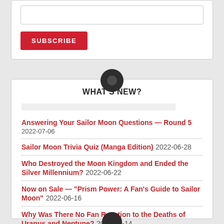[Figure (other): Subscribe form with input field and red SUBSCRIBE button]
[Figure (other): Moon/crescent icon in dark circle as section divider]
WHAT'S NEW?
Answering Your Sailor Moon Questions — Round 5 2022-07-06
Sailor Moon Trivia Quiz (Manga Edition) 2022-06-28
Who Destroyed the Moon Kingdom and Ended the Silver Millennium? 2022-06-22
Now on Sale — "Prism Power: A Fan's Guide to Sailor Moon" 2022-06-16
Why Was There No Fan Reaction to the Deaths of Uranus and Neptune? 2022-06-14